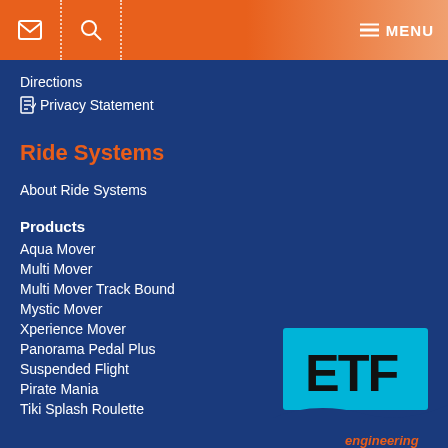envelope icon | search icon | MENU
Directions
Privacy Statement
Ride Systems
About Ride Systems
Products
Aqua Mover
Multi Mover
Multi Mover Track Bound
Mystic Mover
Xperience Mover
Panorama Pedal Plus
Suspended Flight
Pirate Mania
Tiki Splash Roulette
[Figure (logo): ETF Engineering logo — cyan/teal rectangle with 'ETF' text in bold black, dark blue wave shape below, orange 'engineering' italic text]